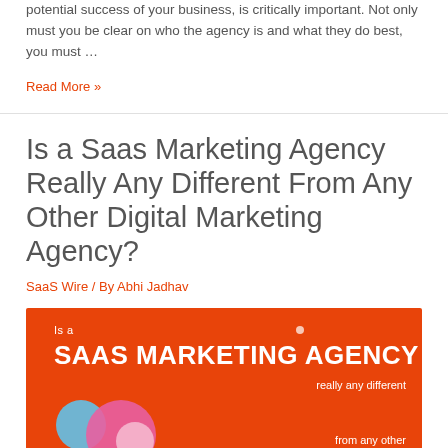potential success of your business, is critically important. Not only must you be clear on who the agency is and what they do best, you must …
Read More »
Is a Saas Marketing Agency Really Any Different From Any Other Digital Marketing Agency?
SaaS Wire / By Abhi Jadhav
[Figure (infographic): Orange infographic banner reading 'Is a SAAS MARKETING AGENCY really any different from any other' with decorative colorful shapes and partial illustration]